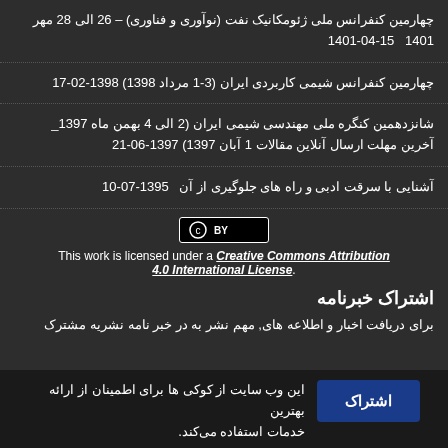چهارمین کنفرانس ملی ژئومکانیک نفت (نوآوری و فناوری) – 26 الی 28 مهر 1401 1401-04-15
چهارمین کنفرانس شیمی کاربردی ایران (3-1 مرداد 1398) 1398-02-17
شانزدهمین کنگره ملی مهندسی شیمی ایران (2 الی 4 بهمن ماه 1397_ آخرین مهلت ارسال آنلاین مقالات 1 آبان 1397) 1397-06-21
آشنایی با سرقت ادبی و راه های جلوگیری از آن 1395-07-10
[Figure (logo): Creative Commons BY license badge]
This work is licensed under a Creative Commons Attribution 4.0 International License.
اشتراک خبرنامه
برای دریافت اخبار و اطلاعه های مهم نشر به در خبر نامه نشریه مشترک
این وب سایت از کوکی ها برای اطمینان از ارائه بهترین خدمات استفاده می‌کند.
متوجه شدم
نامه مدیریت نشریه علمی. حدرب درخته از سیباوب